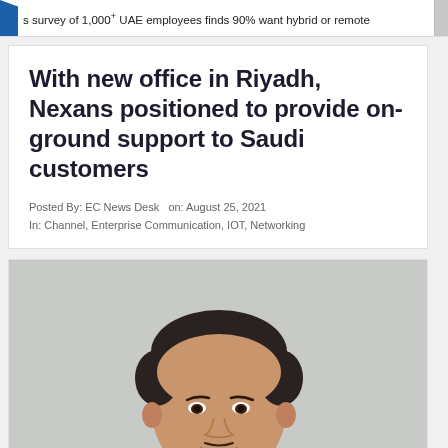s survey of 1,000+ UAE employees finds 90% want hybrid or remote
With new office in Riyadh, Nexans positioned to provide on-ground support to Saudi customers
Posted By: EC News Desk  on: August 25, 2021
In: Channel, Enterprise Communication, IOT, Networking
[Figure (photo): Portrait photo of a man with dark hair, smiling, wearing a light shirt, against a light gray background]